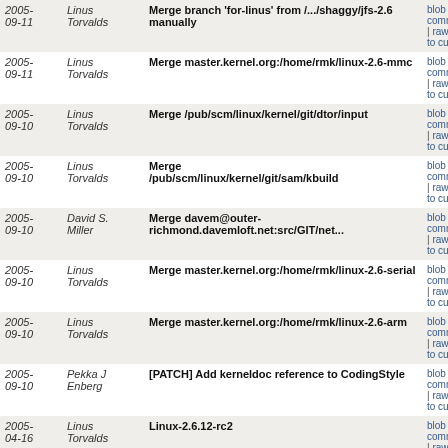| Date | Author | Commit Message | Links |
| --- | --- | --- | --- |
| 2005-
09-11 | Linus
Torvalds | Merge branch 'for-linus' from /.../shaggy/jfs-2.6 manually | blob | comm | raw | to cur |
| 2005-
09-11 | Linus
Torvalds | Merge master.kernel.org:/home/rmk/linux-2.6-mmc | blob | comm | raw | to cur |
| 2005-
09-10 | Linus
Torvalds | Merge /pub/scm/linux/kernel/git/dtor/input | blob | comm | raw | to cur |
| 2005-
09-10 | Linus
Torvalds | Merge /pub/scm/linux/kernel/git/sam/kbuild | blob | comm | raw | to cur |
| 2005-
09-10 | David S.
Miller | Merge davem@outer-richmond.davemloft.net:src/GIT/net... | blob | comm | raw | to cur |
| 2005-
09-10 | Linus
Torvalds | Merge master.kernel.org:/home/rmk/linux-2.6-serial | blob | comm | raw | to cur |
| 2005-
09-10 | Linus
Torvalds | Merge master.kernel.org:/home/rmk/linux-2.6-arm | blob | comm | raw | to cur |
| 2005-
09-10 | Pekka J
Enberg | [PATCH] Add kerneldoc reference to CodingStyle | blob | comm | raw | to cur |
| 2005-
04-16 | Linus
Torvalds | Linux-2.6.12-rc2 | blob | comm | raw | to cur |
Unnamed repository; edit this file 'description' to name the repository.